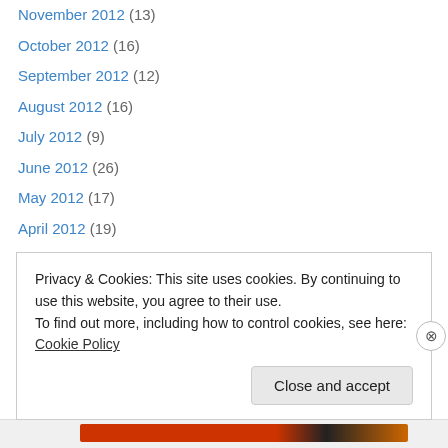November 2012 (13)
October 2012 (16)
September 2012 (12)
August 2012 (16)
July 2012 (9)
June 2012 (26)
May 2012 (17)
April 2012 (19)
March 2012 (15)
February 2012 (9)
January 2012 (10)
December 2011 (6)
November 2011 (8)
Privacy & Cookies: This site uses cookies. By continuing to use this website, you agree to their use.
To find out more, including how to control cookies, see here: Cookie Policy
Close and accept